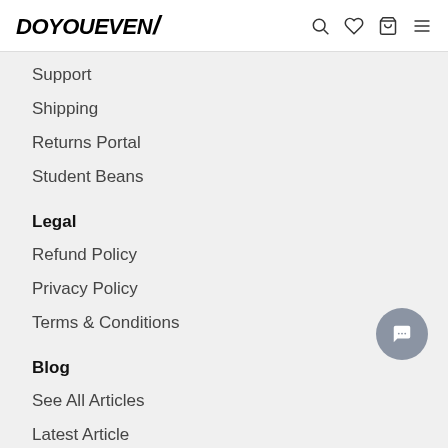DOYOUEVEN/
Support
Shipping
Returns Portal
Student Beans
Legal
Refund Policy
Privacy Policy
Terms & Conditions
Blog
See All Articles
Latest Article